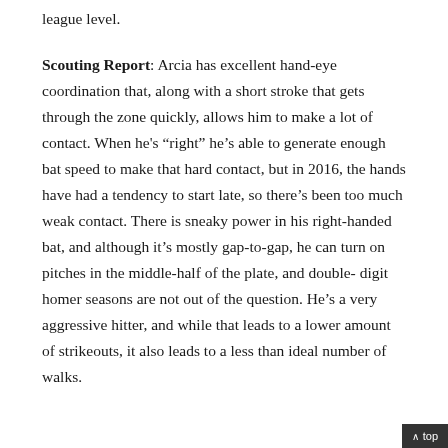league level.
Scouting Report: Arcia has excellent hand-eye coordination that, along with a short stroke that gets through the zone quickly, allows him to make a lot of contact. When he's “right” he’s able to generate enough bat speed to make that hard contact, but in 2016, the hands have had a tendency to start late, so there’s been too much weak contact. There is sneaky power in his right-handed bat, and although it’s mostly gap-to-gap, he can turn on pitches in the middle-half of the plate, and double-digit homer seasons are not out of the question. He’s a very aggressive hitter, and while that leads to a lower amount of strikeouts, it also leads to a less than ideal number of walks.